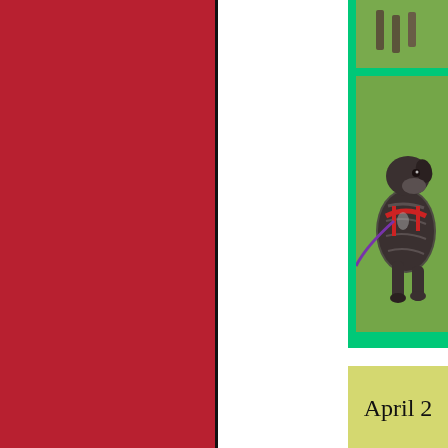[Figure (photo): Red panel occupying the left portion of the page]
[Figure (photo): Brindle dog wearing a red harness and purple leash, standing on grass, shown in a green-bordered photo frame on the right side]
April 2